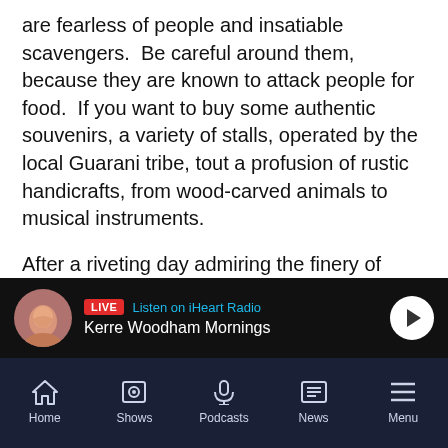are fearless of people and insatiable scavengers.  Be careful around them, because they are known to attack people for food.  If you want to buy some authentic souvenirs, a variety of stalls, operated by the local Guarani tribe, tout a profusion of rustic handicrafts, from wood-carved animals to musical instruments.
After a riveting day admiring the finery of Argentina's  falls, a good night's sleep refuelled me for a second helping, Brazilian-style. After some obligatory customs formalities, which the tour guide handled with aplomb, it was on to the Brazilian version of the Iguazu Falls. Like Argentina, beautifully constructed walking trails effortlessly guide you to all the knock-out viewing platforms, where my jaw continuously dropped. Argentina provides the intimate
[Figure (screenshot): Radio player bar showing LIVE iHeart Radio banner with Kerre Woodham Mornings show, avatar photo of a woman, and play button]
[Figure (screenshot): Mobile app navigation bar with icons: Home, Shows, Podcasts, News, Menu on dark navy background]